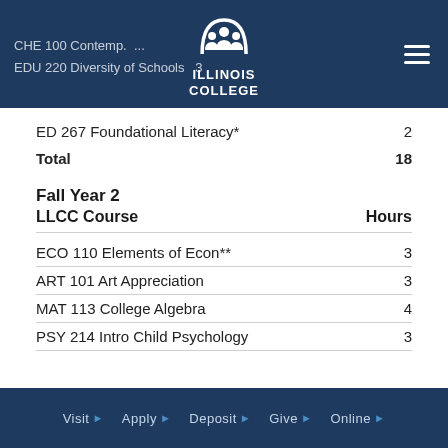CHE 100 Contemp... | EDU 220 Diversity of Schools 3 | Illinois College logo | hamburger menu
ED 267 Foundational Literacy*    2
Total    18
Fall Year 2
| LLCC Course | Hours |
| --- | --- |
| ECO 110 Elements of Econ** | 3 |
| ART 101 Art Appreciation | 3 |
| MAT 113 College Algebra | 4 |
| PSY 214 Intro Child Psychology | 3 |
Visit ▶  Apply ▶  Deposit ▶  Give ▶  Online ▶